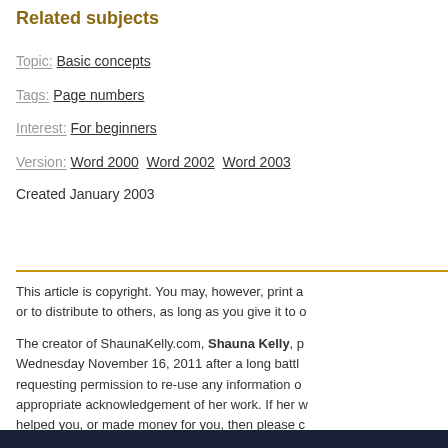Related subjects
Topic: Basic concepts
Tags: Page numbers
Interest: For beginners
Version: Word 2000 Word 2002 Word 2003
Created January 2003
This article is copyright. You may, however, print a or to distribute to others, as long as you give it to o
The creator of ShaunaKelly.com, Shauna Kelly, p Wednesday November 16, 2011 after a long battl requesting permission to re-use any information o appropriate acknowledgement of her work. If her w helped you, or made money for you, then please c name to WomenCan (previously Women's Cance